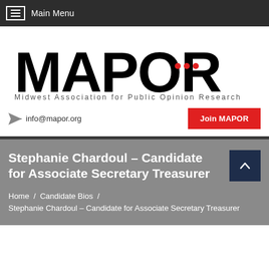Main Menu
[Figure (logo): MAPOR logo with text: Midwest Association for Public Opinion Research]
info@mapor.org
Join MAPOR
Stephanie Chardoul – Candidate for Associate Secretary Treasurer
Home / Candidate Bios / Stephanie Chardoul – Candidate for Associate Secretary Treasurer